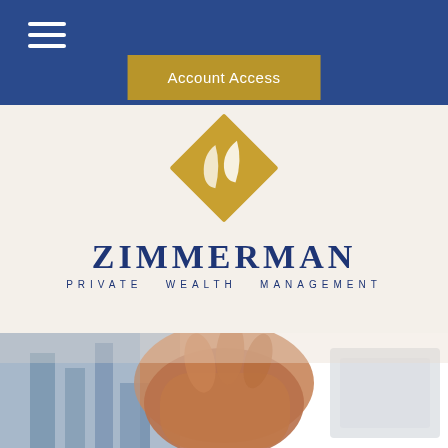Account Access
[Figure (logo): Zimmerman Private Wealth Management logo — gold diamond shape with stylized white swoosh marks, company name ZIMMERMAN in large navy serif font, subtitle PRIVATE WEALTH MANAGEMENT in spaced navy sans-serif text]
[Figure (photo): Blurred background photo showing clasped hands, with soft bokeh of city buildings on the left side and a lighter blurred shape on the right]